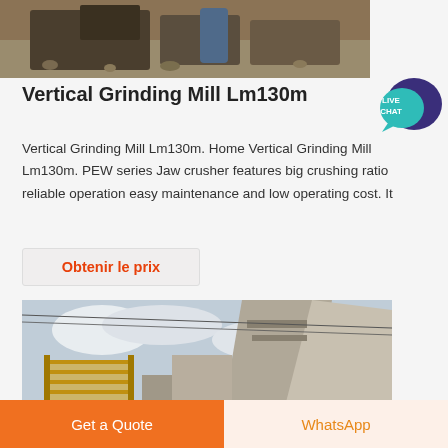[Figure (photo): Industrial grinding mill machinery with gravel and metal components]
Vertical Grinding Mill Lm130m
Vertical Grinding Mill Lm130m. Home Vertical Grinding Mill Lm130m. PEW series Jaw crusher features big crushing ratio reliable operation easy maintenance and low operating cost. It
Obtenir le prix
[Figure (photo): Outdoor industrial crushing or demolition equipment against cloudy sky]
Get a Quote
WhatsApp